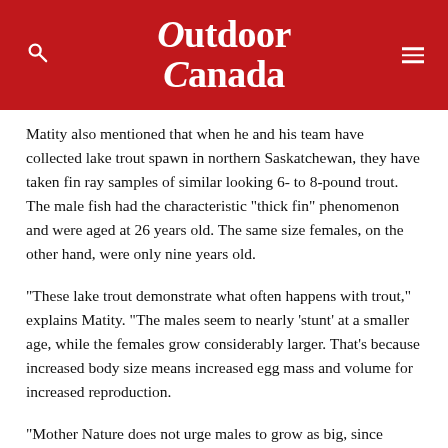Outdoor Canada
Matity also mentioned that when he and his team have collected lake trout spawn in northern Saskatchewan, they have taken fin ray samples of similar looking 6- to 8-pound trout. The male fish had the characteristic “thick fin” phenomenon and were aged at 26 years old. The same size females, on the other hand, were only nine years old.
“These lake trout demonstrate what often happens with trout,” explains Matity. “The males seem to nearly ‘stunt’ at a smaller age, while the females grow considerably larger. That’s because increased body size means increased egg mass and volume for increased reproduction.
“Mother Nature does not urge males to grow as big, since sperm are infinitely tiny compared to eggs. As long as an individual male is healthy, he can produce fresh, viable sperm